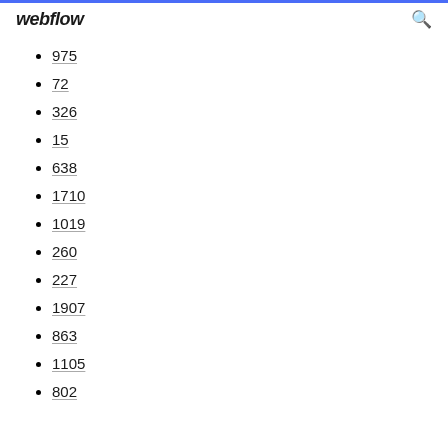webflow
975
72
326
15
638
1710
1019
260
227
1907
863
1105
802